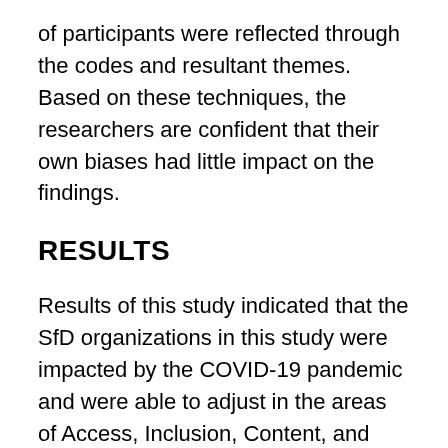of participants were reflected through the codes and resultant themes. Based on these techniques, the researchers are confident that their own biases had little impact on the findings.
RESULTS
Results of this study indicated that the SfD organizations in this study were impacted by the COVID-19 pandemic and were able to adjust in the areas of Access, Inclusion, Content, and Engagement. Furthermore, the results revealed that there were keys to long-term success that came out of the pandemic such as a new focus on partnerships, creativity and innovation, and the development of new content. These themes are detailed in